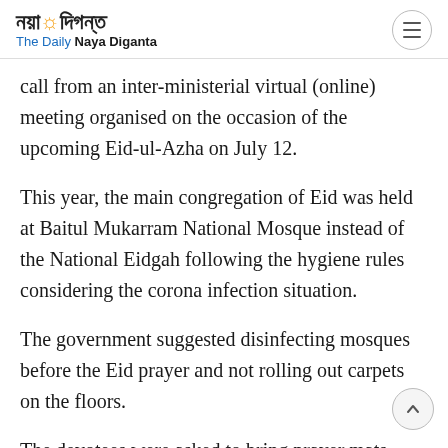নয়া দিগন্ত — The Daily Naya Diganta
call from an inter-ministerial virtual (online) meeting organised on the occasion of the upcoming Eid-ul-Azha on July 12.
This year, the main congregation of Eid was held at Baitul Mukarram National Mosque instead of the National Eidgah following the hygiene rules considering the corona infection situation.
The government suggested disinfecting mosques before the Eid prayer and not rolling out carpets on the floors.
The devotees were asked to bring prayer mats from home. Besides, arrangements were made at the